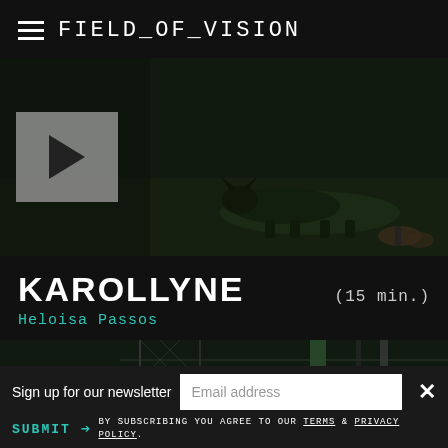FIELD_OF_VISION
[Figure (screenshot): Video thumbnail showing a dog lying on a green surface in a dark setting, with a play button overlay on the left side]
KAROLLYNE (15 min.)
Heloisa Passos
[Figure (screenshot): Video thumbnail showing a fenced area, possibly an MMA cage or animal enclosure, in a dark setting]
Sign up for our newsletter
SUBMIT → BY SUBSCRIBING YOU AGREE TO OUR TERMS & PRIVACY POLICY.